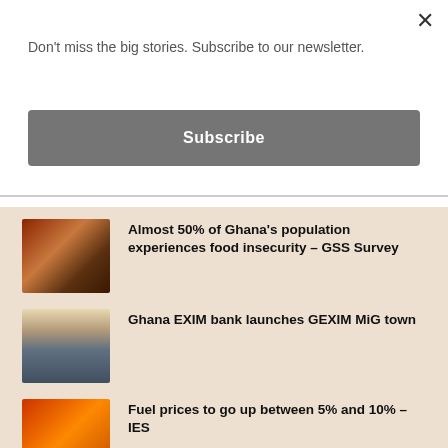Don't miss the big stories. Subscribe to our newsletter.
Subscribe
Almost 50% of Ghana's population experiences food insecurity – GSS Survey
Ghana EXIM bank launches GEXIM MiG town
Fuel prices to go up between 5% and 10% – IES
17 OMCs did not pay GH¢249.8m duties, taxes between 2022, 2021 – Auditor General